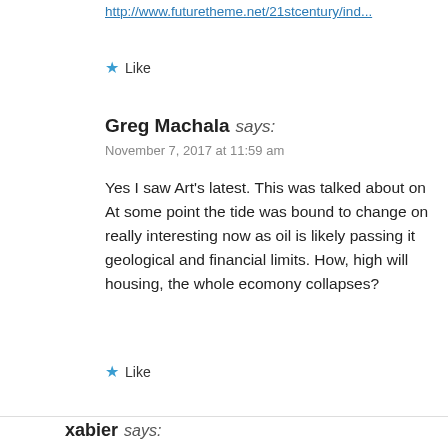http://www.futuretheme.net/21stcentury/ind...
★ Like
Greg Machala says:
November 7, 2017 at 11:59 am
Yes I saw Art's latest. This was talked about on... At some point the tide was bound to change on... really interesting now as oil is likely passing it... geological and financial limits. How, high will... housing, the whole ecomony collapses?
★ Like
xabier says:
November 6, 2017 at 5:30 am